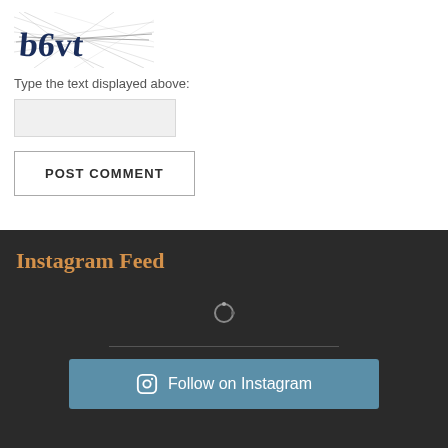[Figure (other): CAPTCHA image showing distorted text 'b6vt' with crossing lines on white background]
Type the text displayed above:
[Figure (other): Text input field (light gray background)]
POST COMMENT
Instagram Feed
[Figure (other): Instagram feed loading spinner icon]
Follow on Instagram